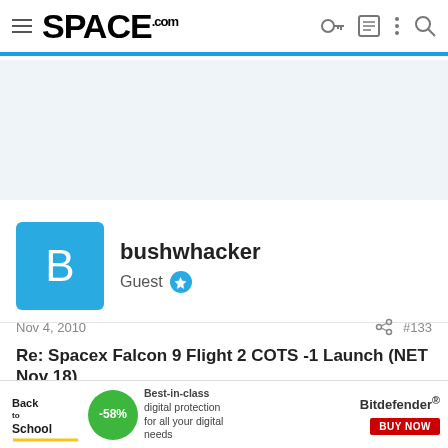SPACE.com
[Figure (other): Ad banner placeholder area with light blue background]
[Figure (other): User avatar: blue square with letter B]
bushwhacker
Guest
Nov 4, 2010  #133
Re: Spacex Falcon 9 Flight 2 COTS -1 Launch (NET Nov 18)
Damn Damn Damn... how much longer can they tease me with this?? Yall need someone to push the button? I still got all my fingers after 30 years as a carpenter... :evil:
[Figure (other): Bottom advertisement: Back to School -58% Bitdefender digital protection ad with BUY NOW button]